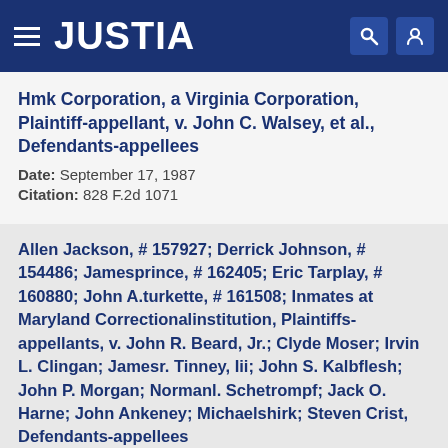JUSTIA
Hmk Corporation, a Virginia Corporation, Plaintiff-appellant, v. John C. Walsey, et al., Defendants-appellees
Date: September 17, 1987
Citation: 828 F.2d 1071
Allen Jackson, # 157927; Derrick Johnson, # 154486; Jamesprince, # 162405; Eric Tarplay, # 160880; John A.turkette, # 161508; Inmates at Maryland Correctionalinstitution, Plaintiffs-appellants, v. John R. Beard, Jr.; Clyde Moser; Irvin L. Clingan; Jamesr. Tinney, Iii; John S. Kalbflesh; John P. Morgan; Normanl. Schetrompf; Jack O. Harne; John Ankeney; Michaelshirk; Steven Crist, Defendants-appellees